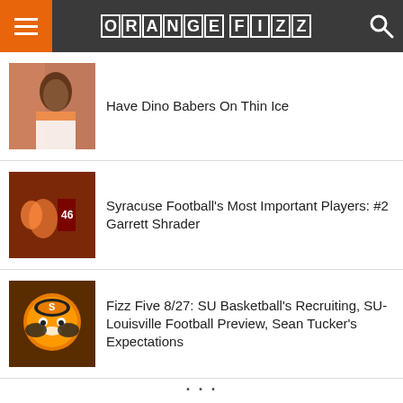ORANGE FIZZ
Have Dino Babers On Thin Ice
Syracuse Football's Most Important Players: #2 Garrett Shrader
Fizz Five 8/27: SU Basketball's Recruiting, SU-Louisville Football Preview, Sean Tucker's Expectations